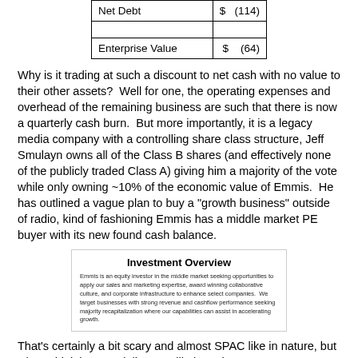| Net Debt | $ | (114) |
| Enterprise Value | $ | (64) |
Why is it trading at such a discount to net cash with no value to their other assets?  Well for one, the operating expenses and overhead of the remaining business are such that there is now a quarterly cash burn.  But more importantly, it is a legacy media company with a controlling share class structure, Jeff Smulayn owns all of the Class B shares (and effectively none of the publicly traded Class A) giving him a majority of the vote while only owning ~10% of the economic value of Emmis.  He has outlined a vague plan to buy a "growth business" outside of radio, kind of fashioning Emmis has a middle market PE buyer with its new found cash balance.
[Figure (screenshot): Screenshot of an investment overview slide. Title: 'Investment Overview'. Body text: 'Emmis is an equity investor in the middle market seeking opportunities to apply our sales and marketing expertise, award winning collaborative culture, and corporate infrastructure to enhance select companies. We target businesses with strong revenue and cashflow performance seeking majority recapitalization where our capabilities can assist in accelerating growth.']
That's certainly a bit scary and almost SPAC like in nature, but what I think is potentially more likely and more